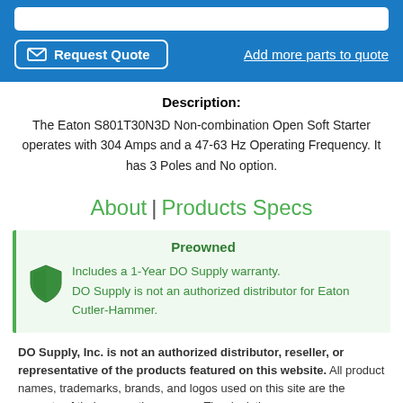[Figure (screenshot): Blue banner with a Request Quote button and 'Add more parts to quote' link]
Description:
The Eaton S801T30N3D Non-combination Open Soft Starter operates with 304 Amps and a 47-63 Hz Operating Frequency. It has 3 Poles and No option.
About | Products Specs
Preowned
Includes a 1-Year DO Supply warranty.
DO Supply is not an authorized distributor for Eaton Cutler-Hammer.
DO Supply, Inc. is not an authorized distributor, reseller, or representative of the products featured on this website. All product names, trademarks, brands, and logos used on this site are the property of their respective owners. The depiction